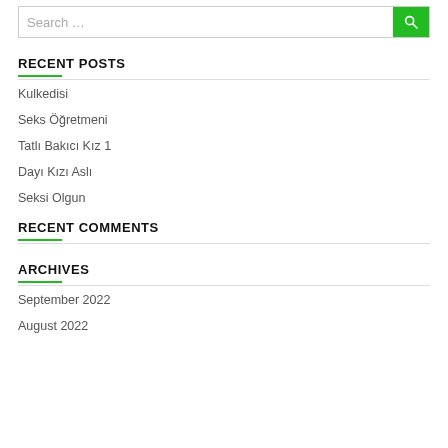Search …
RECENT POSTS
Kulkedisi
Seks Öğretmeni
Tatlı Bakıcı Kız 1
Dayı Kızı Aslı
Seksi Olgun
RECENT COMMENTS
ARCHIVES
September 2022
August 2022